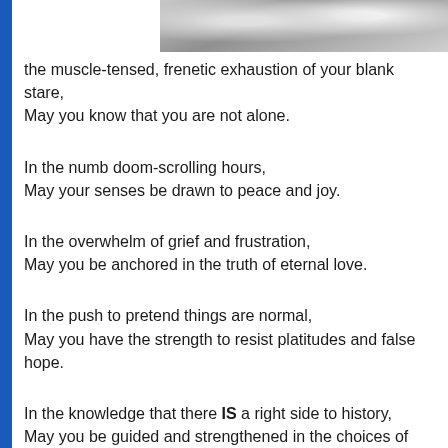[Figure (photo): Partial view of a classical statue or sculpture, showing upper body/face area in black and white]
the muscle-tensed, frenetic exhaustion of your blank stare,
May you know that you are not alone.
In the numb doom-scrolling hours,
May your senses be drawn to peace and joy.
In the overwhelm of grief and frustration,
May you be anchored in the truth of eternal love.
In the push to pretend things are normal,
May you have the strength to resist platitudes and false hope.
In the knowledge that there IS a right side to history,
May you be guided and strengthened in the choices of justice and righteousness.